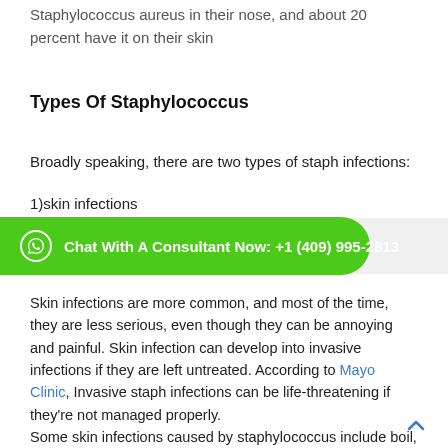Staphylococcus aureus in their nose, and about 20 percent have it on their skin
Types Of Staphylococcus
Broadly speaking, there are two types of staph infections:
1)skin infections
[Figure (infographic): Green WhatsApp chat button: Chat With A Consultant Now: +1 (409) 995-2813]
Skin infections are more common, and most of the time, they are less serious, even though they can be annoying and painful. Skin infection can develop into invasive infections if they are left untreated. According to Mayo Clinic, Invasive staph infections can be life-threatening if they're not managed properly.
Some skin infections caused by staphylococcus include boil, impetigo, Cellulitis, Staphylococcal scalded skin syndrome